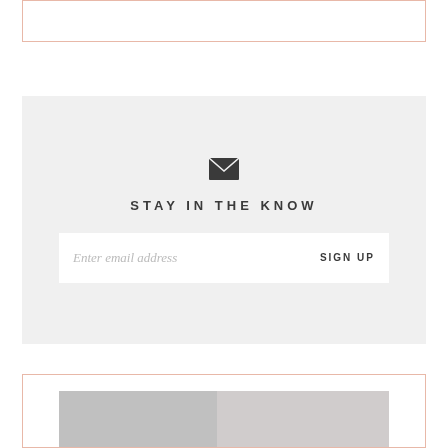[Figure (other): Top card with salmon/rose border, white interior, partially visible at top of page]
STAY IN THE KNOW
Enter email address
SIGN UP
[Figure (photo): Bottom card with salmon/rose border containing a partial interior room photo at the bottom]